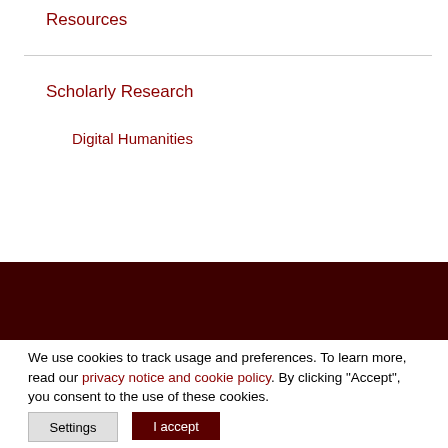Resources
Scholarly Research
Digital Humanities
We use cookies to track usage and preferences. To learn more, read our privacy notice and cookie policy. By clicking “Accept”, you consent to the use of these cookies.